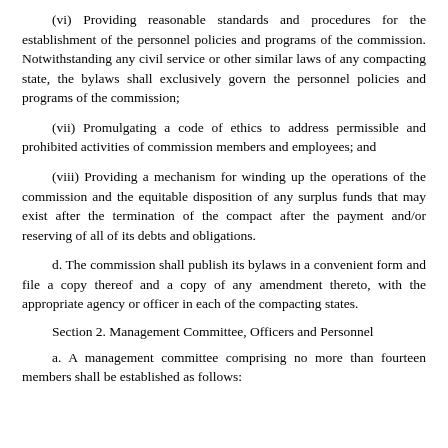(vi) Providing reasonable standards and procedures for the establishment of the personnel policies and programs of the commission. Notwithstanding any civil service or other similar laws of any compacting state, the bylaws shall exclusively govern the personnel policies and programs of the commission;
(vii) Promulgating a code of ethics to address permissible and prohibited activities of commission members and employees; and
(viii) Providing a mechanism for winding up the operations of the commission and the equitable disposition of any surplus funds that may exist after the termination of the compact after the payment and/or reserving of all of its debts and obligations.
d. The commission shall publish its bylaws in a convenient form and file a copy thereof and a copy of any amendment thereto, with the appropriate agency or officer in each of the compacting states.
Section 2. Management Committee, Officers and Personnel
a. A management committee comprising no more than fourteen members shall be established as follows: